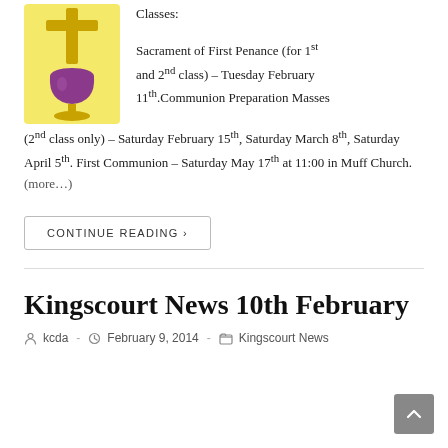[Figure (illustration): Religious illustration of a cross and chalice (communion cup) on a yellow background]
Classes:
Sacrament of First Penance (for 1st and 2nd class) – Tuesday February 11th.Communion Preparation Masses (2nd class only) – Saturday February 15th, Saturday March 8th, Saturday April 5th. First Communion – Saturday May 17th at 11:00 in Muff Church. (more…)
CONTINUE READING ›
Kingscourt News 10th February
kcda · February 9, 2014 · Kingscourt News